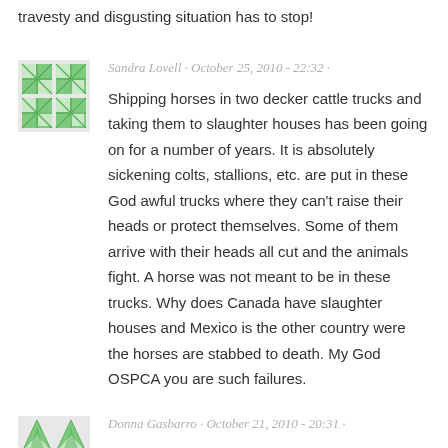travesty and disgusting situation has to stop!
Sandra Lovell · October 25, 2010 - 22:32 ·
Shipping horses in two decker cattle trucks and taking them to slaughter houses has been going on for a number of years. It is absolutely sickening colts, stallions, etc. are put in these God awful trucks where they can't raise their heads or protect themselves. Some of them arrive with their heads all cut and the animals fight. A horse was not meant to be in these trucks. Why does Canada have slaughter houses and Mexico is the other country were the horses are stabbed to death. My God OSPCA you are such failures.
Donna Gasbarro · October 21, 2010 - 20:31 ·
Horrible beyond words.
Please put an end to Horse slaughter and support